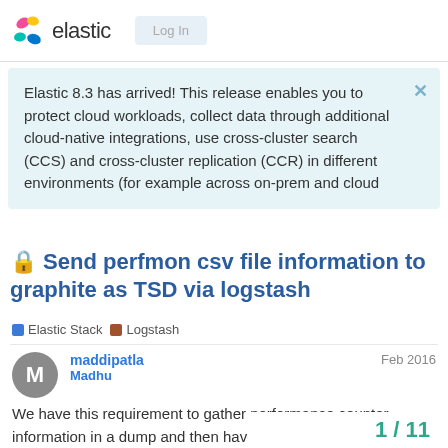elastic  Log In
Elastic 8.3 has arrived! This release enables you to protect cloud workloads, collect data through additional cloud-native integrations, use cross-cluster search (CCS) and cross-cluster replication (CCR) in different environments (for example across on-prem and cloud
🔒 Send perfmon csv file information to graphite as TSD via logstash
Elastic Stack   Logstash
maddipatla  Madhu  Feb 2016
We have this requirement to gather performance counter information in a dump and then have the information sent to graphite.
1 / 11